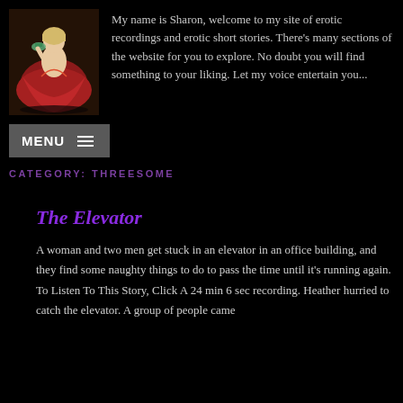[Figure (illustration): Vintage pin-up illustration of a woman in a red dress reclining, holding a telephone receiver]
My name is Sharon, welcome to my site of erotic recordings and erotic short stories. There's many sections of the website for you to explore. No doubt you will find something to your liking. Let my voice entertain you...
MENU ≡
CATEGORY: THREESOME
The Elevator
A woman and two men get stuck in an elevator in an office building, and they find some naughty things to do to pass the time until it's running again. To Listen To This Story, Click A 24 min 6 sec recording. Heather hurried to catch the elevator. A group of people came